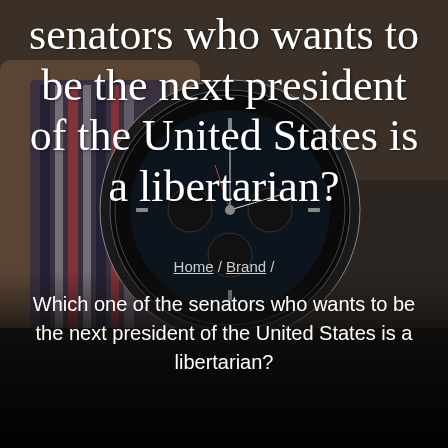[Figure (photo): A close-up photograph of a person's wrist wearing a watch with a dark chronograph face and a braided/striped watchband. The background is dark and moody.]
senators who wants to be the next president of the United States is a libertarian?
Home / Brand /
Which one of the senators who wants to be the next president of the United States is a libertarian?